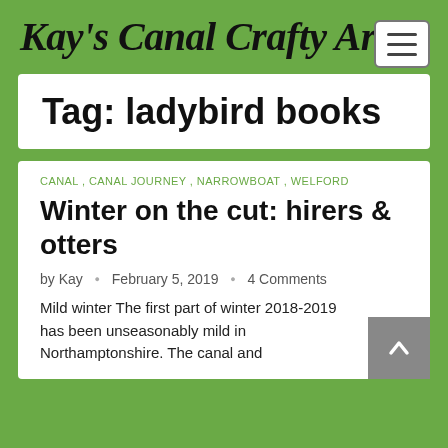Kay's Canal Crafty Arts
Tag: ladybird books
CANAL , CANAL JOURNEY , NARROWBOAT , WELFORD
Winter on the cut: hirers & otters
by Kay  •  February 5, 2019  •  4 Comments
Mild winter The first part of winter 2018-2019 has been unseasonably mild in Northamptonshire. The canal and